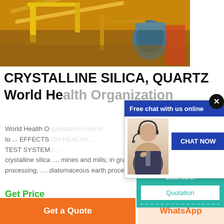[Figure (photo): Aerial/side view of a mining processing facility with yellow cranes, conveyor belts, and industrial equipment on orange/brown earth]
CRYSTALLINE SILICA, QUARTZ World Health Organization ...
World Health Organization ... to ... EFFECTS ... TEST SYSTEM ... crystalline silica .... mines and mills; in granite qua... processing, .... diatomaceous earth processing fac...
Get Price
[Figure (screenshot): Live chat popup with blue header 'Free chat with us online', close X button, customer service agent photo, and blue CHAT NOW button]
[Figure (screenshot): Teal sidebar panel showing '24/7 Online', customer service agent photo with headset, 'Have any requests, click here.' text, Quotation button, and dashed border]
Get a Quote
WhatsApp